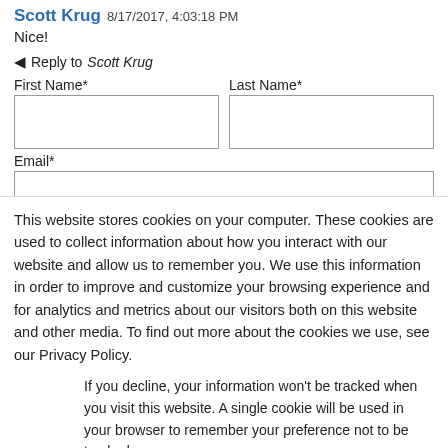Scott Krug 8/17/2017, 4:03:18 PM
Nice!
Reply to Scott Krug
First Name*
Last Name*
Email*
This website stores cookies on your computer. These cookies are used to collect information about how you interact with our website and allow us to remember you. We use this information in order to improve and customize your browsing experience and for analytics and metrics about our visitors both on this website and other media. To find out more about the cookies we use, see our Privacy Policy.
If you decline, your information won't be tracked when you visit this website. A single cookie will be used in your browser to remember your preference not to be tracked.
Accept
Decline